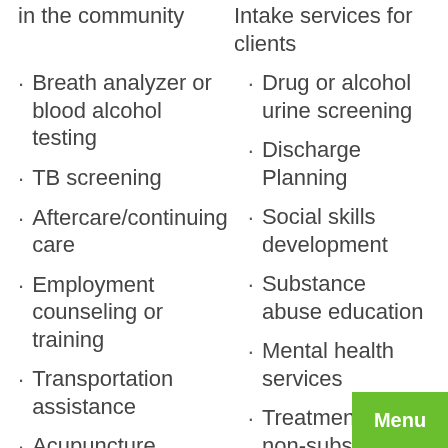in the community
Intake services for clients
Breath analyzer or blood alcohol testing
Drug or alcohol urine screening
TB screening
Discharge Planning
Aftercare/continuing care
Social skills development
Employment counseling or training
Substance abuse education
Transportation assistance
Mental health services
Acupuncture
Treatment for non-substance abuse addiction disorder
Individual counseling offered
Group counseling offered
Family counseling
Marital/couples